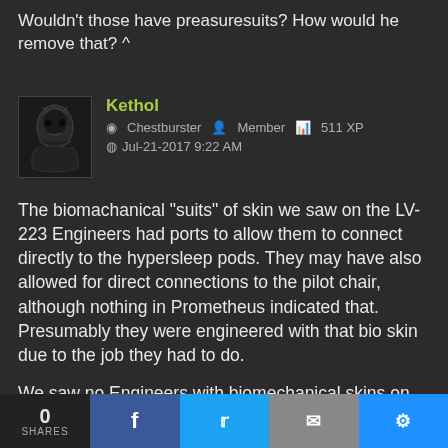Wouldn't those have preasuresuits? How would he remove that? ^
Kethol
Chestburster  Member  511 XP
Jul-21-2017 9:22 AM
The biomachanical "suits" of skin we saw on the LV-223 Engineers had ports to allow them to connect directly to the hypersleep pods. They may have also allowed for direct connections to the pilot chair, although nothing in Prometheus indicated that. Presumably they were engineered with that bio skin due to the job they had to do.

We saw no Engineers with biomechanical skins on planet 4, and the ones who piloted the docking
0 SHARES